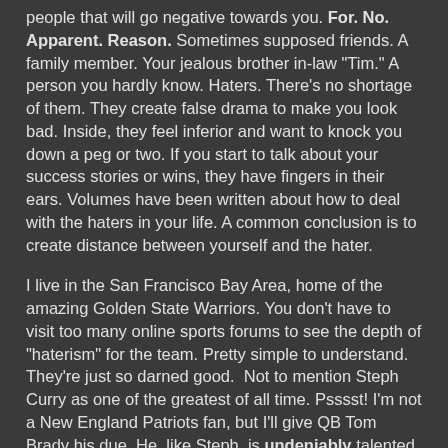people that will go negative towards you. For. No. Apparent. Reason. Sometimes supposed friends. A family member. Your jealous brother in-law "Tim." A person you hardly know. Haters. There's no shortage of them. They create false drama to make you look bad. Inside, they feel inferior and want to knock you down a peg or two. If you start to talk about your success stories or wins, they have fingers in their ears. Volumes have been written about how to deal with the haters in your life. A common conclusion is to create distance between yourself and the hater.
I live in the San Francisco Bay Area, home of the amazing Golden State Warriors. You don't have to visit too many online sports forums to see the depth of "haterism" for the team. Pretty simple to understand. They're just so darned good.  Not to mention Steph Curry as one of the greatest of all time. Psssst! I'm not a New England Patriots fan, but I'll give QB Tom Brady his due. He, like Steph, is undeniably talented in their respective sports.
So, when you're under attack from a hater, frenemy or enemy, remember the old saying, "The best revenge is